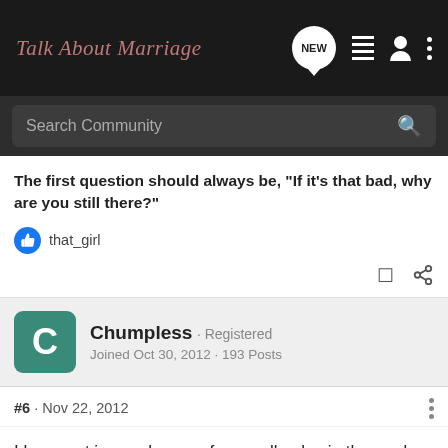Talk About Marriage
Search Community
The first question should always be, "If it's that bad, why are you still there?"
that_girl
Chumpless · Registered
Joined Oct 30, 2012 · 193 Posts
#6 · Nov 22, 2012
I hang out in my shop, go for a walk, play in the yard, stare at the sky.
My wife doesn't mind at all. She probably likes her solitude more than me, so neither of us "seem" to ever have a problem